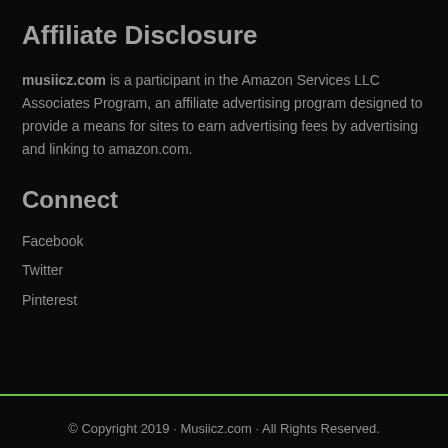Affiliate Disclosure
musiicz.com is a participant in the Amazon Services LLC Associates Program, an affiliate advertising program designed to provide a means for sites to earn advertising fees by advertising and linking to amazon.com.
Connect
Facebook
Twitter
Pinterest
© Copyright 2019 · Musiicz.com · All Rights Reserved.